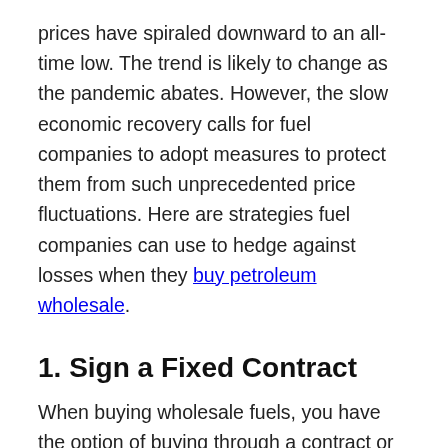prices have spiraled downward to an all-time low. The trend is likely to change as the pandemic abates. However, the slow economic recovery calls for fuel companies to adopt measures to protect them from such unprecedented price fluctuations. Here are strategies fuel companies can use to hedge against losses when they buy petroleum wholesale.
1. Sign a Fixed Contract
When buying wholesale fuels, you have the option of buying through a contract or on the spot. The latter means purchasing fuel from a supplier as the need arises without scheduled delivery and